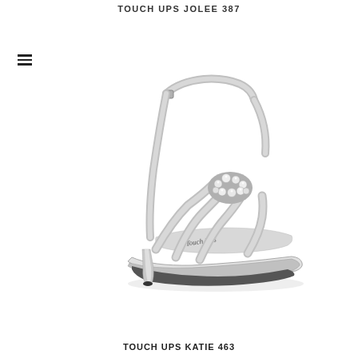TOUCH UPS JOLEE 387
[Figure (photo): Silver high-heel strappy sandal with rhinestone embellishment at toe, ankle strap, stiletto heel, and platform sole. Touch Ups brand insole visible. Photographed on white background.]
TOUCH UPS KATIE 463